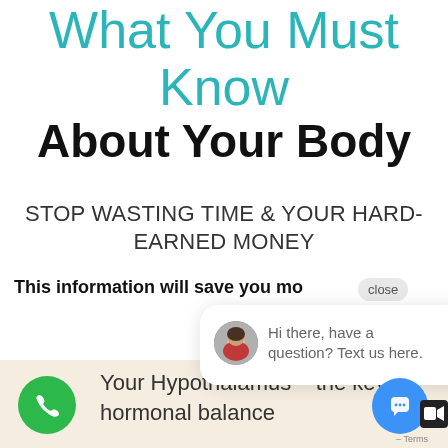What You Must Know
About Your Body
STOP WASTING TIME & YOUR HARD-EARNED MONEY
This information will save you mo
[Figure (screenshot): Chat popup widget with woman avatar and text: Hi there, have a question? Text us here. Close button visible. Green phone button bottom left, blue chat widget button bottom right with video icon.]
Your Hypothalamus - the key to hormonal balance